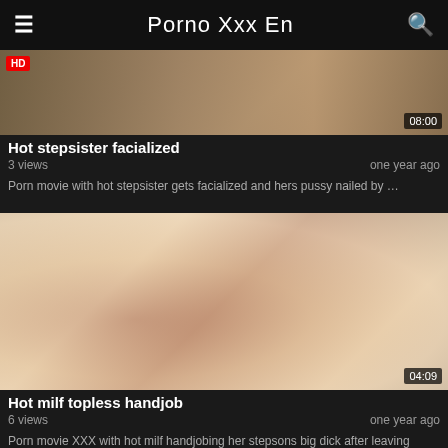Porno Xxx En
[Figure (photo): Video thumbnail for hot stepsister facialized, HD badge top-left, duration 08:00 bottom-right]
Hot stepsister facialized
3 views   one year ago
Porn movie with hot stepsister gets facialized and hers pussy nailed by …
[Figure (photo): Video thumbnail for hot milf topless handjob, duration 04:09 bottom-right]
Hot milf topless handjob
6 views   one year ago
Porn movie XXX with hot milf handjobing her stepsons big dick after leaving home …